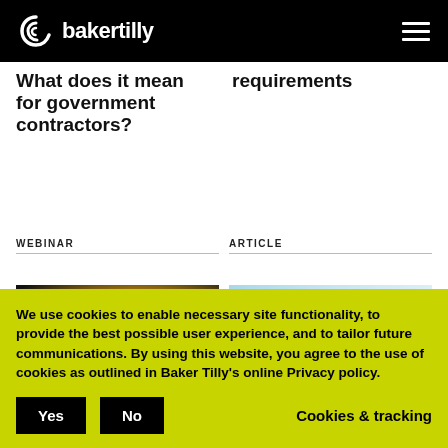bakertilly
What does it mean for government contractors? requirements
WEBINAR
ARTICLE
[Figure (photo): Dark bokeh background with bright light orbs]
[Figure (photo): Building exterior with glass architecture]
We use cookies to enable necessary site functionality, to provide the best possible user experience, and to tailor future communications. By using this website, you agree to the use of cookies as outlined in Baker Tilly's online Privacy policy.
Yes   No   Cookies & tracking